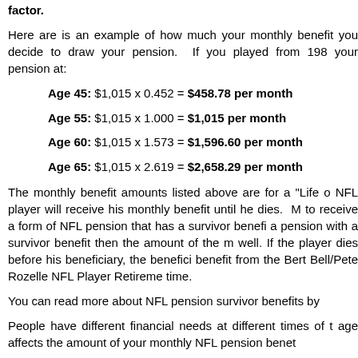factor.
Here are is an example of how much your monthly benefit you decide to draw your pension. If you played from 198 your pension at:
Age 45: $1,015 x 0.452 = $458.78 per month
Age 55: $1,015 x 1.000 = $1,015 per month
Age 60: $1,015 x 1.573 = $1,596.60 per month
Age 65: $1,015 x 2.619 = $2,658.29 per month
The monthly benefit amounts listed above are for a "Life o NFL player will receive his monthly benefit until he dies. M to receive a form of NFL pension that has a survivor benefi a pension with a survivor benefit then the amount of the m well. If the player dies before his beneficiary, the benefici benefit from the Bert Bell/Pete Rozelle NFL Player Retireme time.
You can read more about NFL pension survivor benefits by
People have different financial needs at different times of t age affects the amount of your monthly NFL pension benet